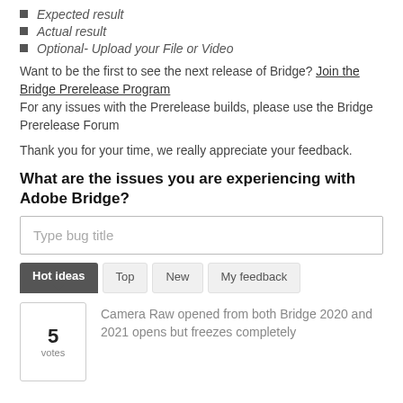Expected result
Actual result
Optional- Upload your File or Video
Want to be the first to see the next release of Bridge? Join the Bridge Prerelease Program
For any issues with the Prerelease builds, please use the Bridge Prerelease Forum
Thank you for your time, we really appreciate your feedback.
What are the issues you are experiencing with Adobe Bridge?
Type bug title
Hot ideas  Top  New  My feedback
5 votes  Camera Raw opened from both Bridge 2020 and 2021 opens but freezes completely